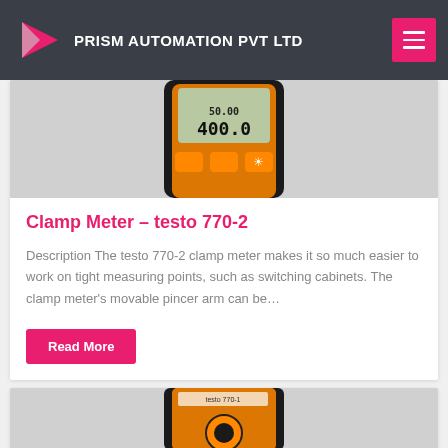PRISM AUTOMATION PVT LTD
[Figure (photo): Testo 770-2 clamp meter device with orange and black casing showing digital display reading 400.0, with orange buttons]
Clamp Meter – testo 770-2
Description The testo 770-2 clamp meter makes it so much easier to work on tight measuring points, such as switching cabinets. The clamp meter's movable pincer arm can be…
Read More
[Figure (photo): Testo 770-1 clamp meter device, partial view showing orange and black casing with circular dial]